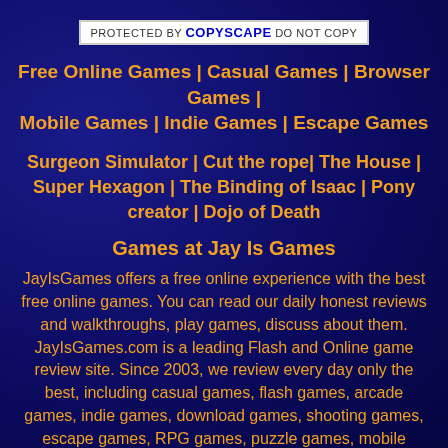[Figure (logo): Copyscape badge: PROTECTED BY COPYSCAPE DO NOT COPY]
Free Online Games | Casual Games | Browser Games | Mobile Games | Indie Games | Escape Games
Surgeon Simulator | Cut the rope| The House | Super Hexagon | The Binding of Isaac | Pony creator | Dojo of Death
Games at Jay Is Games
JayIsGames offers a free online experience with the best free online games. You can read our daily honest reviews and walkthroughs, play games, discuss about them. JayIsGames.com is a leading Flash and Online game review site. Since 2003, we review every day only the best, including casual games, flash games, arcade games, indie games, download games, shooting games, escape games, RPG games, puzzle games, mobile games and much more. Submit a Game: Don't just read reviews or play games on JayIsGames.com, submit them! Submit your game now and we might release it in homepage. Use our game submission form. Check us back often! We add new games every